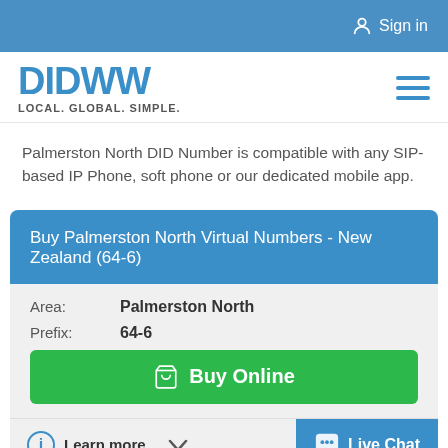Sign in
[Figure (logo): DIDWW logo with tagline LOCAL. GLOBAL. SIMPLE.]
Palmerston North DID Number is compatible with any SIP-based IP Phone, soft phone or our dedicated mobile app.
Buy Palmerston North Virtual Numbers - New Zealand (64-6)
| Area: | Palmerston North |
| Prefix: | 64-6 |
Buy Online
Learn more
Live Chat